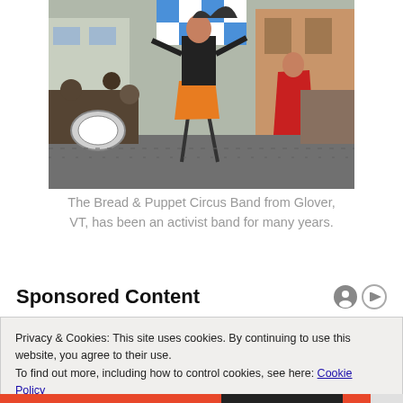[Figure (photo): Street performance photo: a stilt-walker in orange pants and black top performs in the street, surrounded by a marching band with drums and brass instruments, and another performer in a red costume. Crowd watches on the sidewalk. Colorful building in background.]
The Bread & Puppet Circus Band from Glover, VT, has been an activist band for many years.
Sponsored Content
Privacy & Cookies: This site uses cookies. By continuing to use this website, you agree to their use.
To find out more, including how to control cookies, see here: Cookie Policy
Close and accept